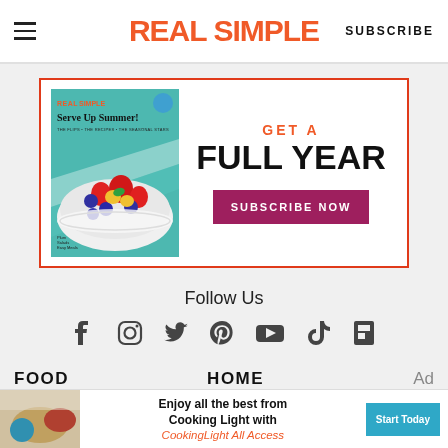REAL SIMPLE | SUBSCRIBE
[Figure (other): Real Simple magazine subscription advertisement banner showing magazine cover with 'Serve Up Summer!' and 'GET A FULL YEAR' headline with SUBSCRIBE NOW button]
Follow Us
[Figure (other): Social media icons row: Facebook, Instagram, Twitter, Pinterest, YouTube, TikTok, Flipboard]
FOOD
HOME
[Figure (other): Bottom advertisement bar: Enjoy all the best from Cooking Light with CookingLight All Access - Start Today button]